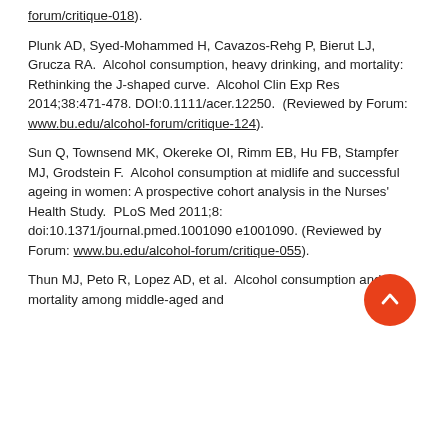forum/critique-018).
Plunk AD, Syed-Mohammed H, Cavazos-Rehg P, Bierut LJ, Grucza RA.  Alcohol consumption, heavy drinking, and mortality: Rethinking the J-shaped curve.  Alcohol Clin Exp Res 2014;38:471-478. DOI:0.1111/acer.12250.  (Reviewed by Forum: www.bu.edu/alcohol-forum/critique-124).
Sun Q, Townsend MK, Okereke OI, Rimm EB, Hu FB, Stampfer MJ, Grodstein F.  Alcohol consumption at midlife and successful ageing in women: A prospective cohort analysis in the Nurses' Health Study.  PLoS Med 2011;8: doi:10.1371/journal.pmed.1001090 e1001090. (Reviewed by Forum: www.bu.edu/alcohol-forum/critique-055).
Thun MJ, Peto R, Lopez AD, et al.  Alcohol consumption and mortality among middle-aged and